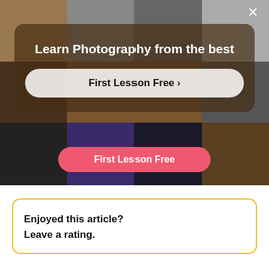[Figure (screenshot): Photography course advertisement banner with dark warm-toned photo collage background. Shows a modal overlay with headline 'Learn Photography from the best', a white rounded button 'First Lesson Free >', a close X button, and a red/pink rounded button 'First Lesson Free' at the bottom of the image area.]
Enjoyed this article?
Leave a rating.